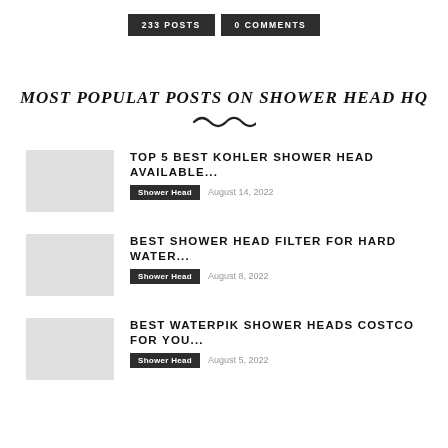233 POSTS   0 COMMENTS
MOST POPULAT POSTS ON SHOWER HEAD HQ
TOP 5 BEST KOHLER SHOWER HEAD AVAILABLE...
Shower Head   August 14, 2022
BEST SHOWER HEAD FILTER FOR HARD WATER...
Shower Head   August 8, 2022
BEST WATERPIK SHOWER HEADS COSTCO FOR YOU...
Shower Head   August 5, 2022